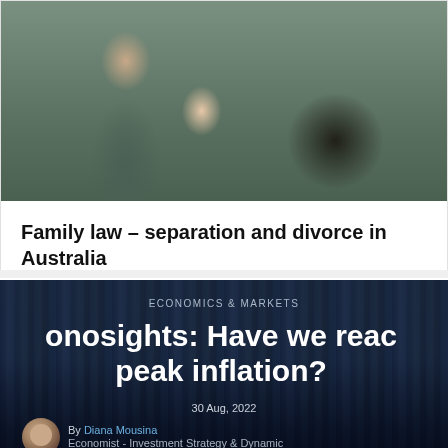[Figure (photo): A young girl holding a stuffed teddy bear, photographed from behind, with adults sitting at a table in the blurred background, suggesting a family law or custody context.]
Family law – separation and divorce in Australia
[Figure (photo): Night cityscape of a major city used as background for an article card. Overlaid text reads: ECONOMICS & MARKETS / Econosights: Have we reached peak inflation? / 30 Aug, 2022 / By Diana Mousina / Economist – Investment Strategy & Dynamic Markets]
ECONOMICS & MARKETS
Econosights: Have we reached peak inflation?
30 Aug, 2022
By Diana Mousina
Economist - Investment Strategy & Dynamic Markets